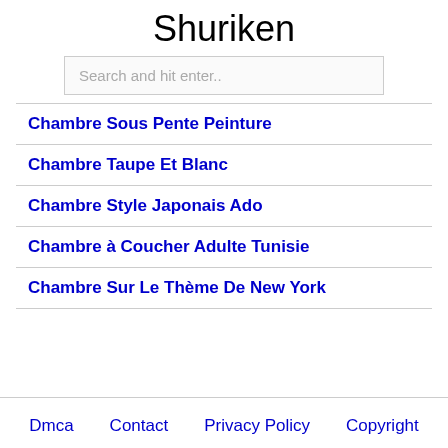Shuriken
Search and hit enter..
Chambre Sous Pente Peinture
Chambre Taupe Et Blanc
Chambre Style Japonais Ado
Chambre à Coucher Adulte Tunisie
Chambre Sur Le Thème De New York
Dmca   Contact   Privacy Policy   Copyright